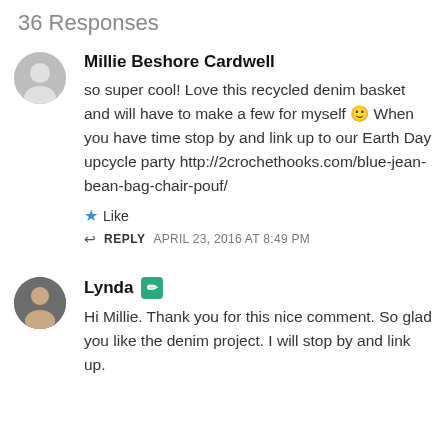36 Responses
Millie Beshore Cardwell
so super cool! Love this recycled denim basket and will have to make a few for myself 🙂 When you have time stop by and link up to our Earth Day upcycle party http://2crochethooks.com/blue-jean-bean-bag-chair-pouf/
★ Like
↩ REPLY   APRIL 23, 2016 AT 8:49 PM
Lynda
Hi Millie. Thank you for this nice comment. So glad you like the denim project. I will stop by and link up.